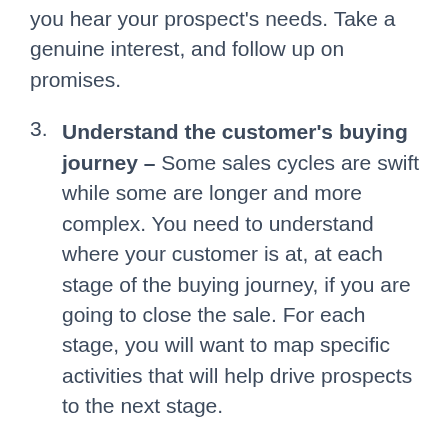you hear your prospect's needs. Take a genuine interest, and follow up on promises.
3. Understand the customer's buying journey – Some sales cycles are swift while some are longer and more complex. You need to understand where your customer is at, at each stage of the buying journey, if you are going to close the sale. For each stage, you will want to map specific activities that will help drive prospects to the next stage.
4. Identify your target personas – Who are you selling to? What do they care about? What problems are they trying to solve? Make sure you speak their language and directly address their needs and interests.